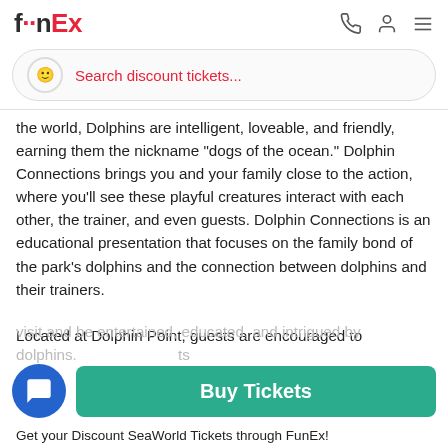FunEx
Search discount tickets...
the world, Dolphins are intelligent, loveable, and friendly, earning them the nickname “dogs of the ocean.” Dolphin Connections brings you and your family close to the action, where you’ll see these playful creatures interact with each other, the trainer, and even guests. Dolphin Connections is an educational presentation that focuses on the family bond of the park’s dolphins and the connection between dolphins and their trainers.

Located at Dolphin Point, guests are encouraged to
visit and be entertained, educated, and intrigued by dolphins. ts
Buy Tickets
Get your Discount SeaWorld Tickets through FunEx!